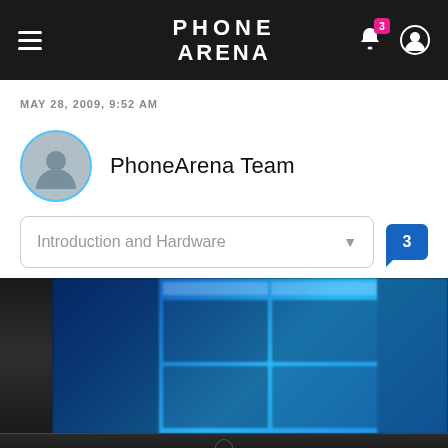PHONE ARENA
MAY 28, 2009, 9:52 AM
PhoneArena Team
Introduction and Hardware
[Figure (screenshot): Blurry photo of a laptop showing the PhoneArena website with blue grid layout]